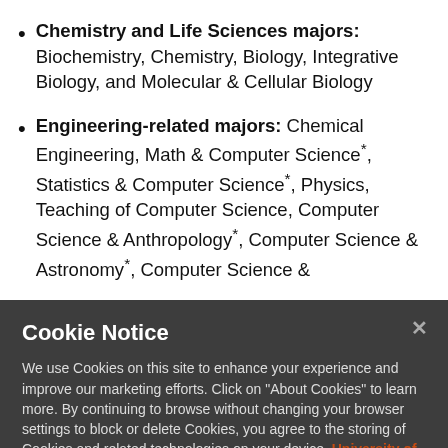Chemistry and Life Sciences majors: Biochemistry, Chemistry, Biology, Integrative Biology, and Molecular & Cellular Biology
Engineering-related majors: Chemical Engineering, Math & Computer Science*, Statistics & Computer Science*, Physics, Teaching of Computer Science, Computer Science & Anthropology*, Computer Science & Astronomy*, Computer Science &
Cookie Notice
We use Cookies on this site to enhance your experience and improve our marketing efforts. Click on “About Cookies” to learn more. By continuing to browse without changing your browser settings to block or delete Cookies, you agree to the storing of Cookies and related technologies on your device. University of Illinois System Cookie Policy